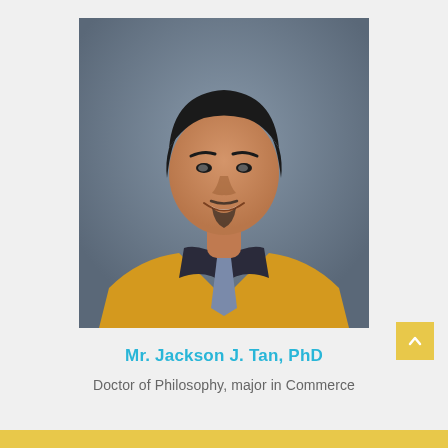[Figure (photo): Portrait photo of Mr. Jackson J. Tan, PhD in academic graduation regalia with yellow sash/hood over dark clothing, smiling, against a grey studio background]
Mr. Jackson J. Tan, PhD
Doctor of Philosophy, major in Commerce